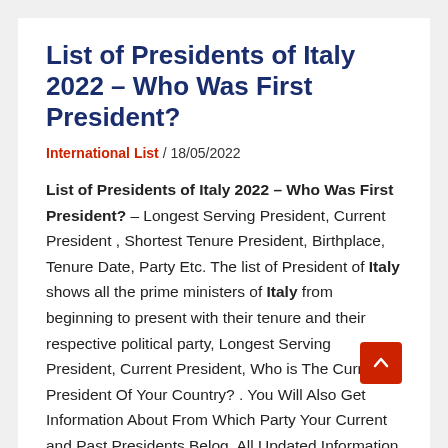List of Presidents of Italy 2022 – Who Was First President?
International List / 18/05/2022
List of Presidents of Italy 2022 – Who Was First President? – Longest Serving President, Current President , Shortest Tenure President, Birthplace, Tenure Date, Party Etc. The list of President of Italy shows all the prime ministers of Italy from beginning to present with their tenure and their respective political party, Longest Serving President, Current President, Who is The Current President Of Your Country? . You Will Also Get Information About From Which Party Your Current and Past Presidents Belog. All Updated Information Given below.